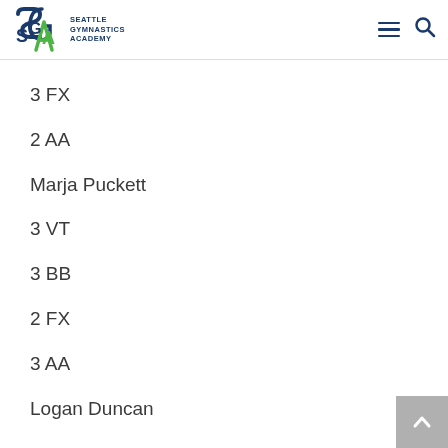[Figure (logo): Seattle Gymnastics Academy logo with SGA letters in blue and green, with text 'SEATTLE GYMNASTICS ACADEMY']
3 FX
2 AA
Marja Puckett
3 VT
3 BB
2 FX
3 AA
Logan Duncan